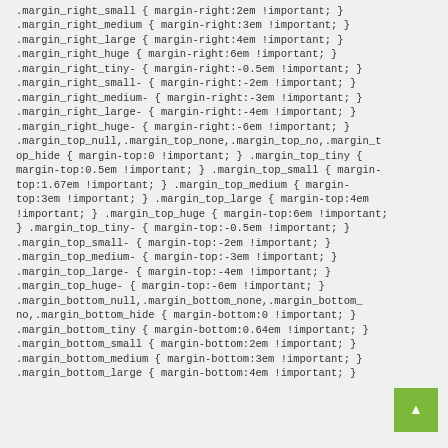.margin_right_small { margin-right:2em !important; } .margin_right_medium { margin-right:3em !important; } .margin_right_large { margin-right:4em !important; } .margin_right_huge { margin-right:6em !important; } .margin_right_tiny- { margin-right:-0.5em !important; } .margin_right_small- { margin-right:-2em !important; } .margin_right_medium- { margin-right:-3em !important; } .margin_right_large- { margin-right:-4em !important; } .margin_right_huge- { margin-right:-6em !important; } .margin_top_null,.margin_top_none,.margin_top_no,.margin_top_hide { margin-top:0 !important; } .margin_top_tiny { margin-top:0.5em !important; } .margin_top_small { margin-top:1.67em !important; } .margin_top_medium { margin-top:3em !important; } .margin_top_large { margin-top:4em !important; } .margin_top_huge { margin-top:6em !important; } .margin_top_tiny- { margin-top:-0.5em !important; } .margin_top_small- { margin-top:-2em !important; } .margin_top_medium- { margin-top:-3em !important; } .margin_top_large- { margin-top:-4em !important; } .margin_top_huge- { margin-top:-6em !important; } .margin_bottom_null,.margin_bottom_none,.margin_bottom_no,.margin_bottom_hide { margin-bottom:0 !important; } .margin_bottom_tiny { margin-bottom:0.64em !important; } .margin_bottom_small { margin-bottom:2em !important; } .margin_bottom_medium { margin-bottom:3em !important; } .margin_bottom_large { margin-bottom:4em !important; }
[Figure (other): Green button with upward arrow (back to top button)]